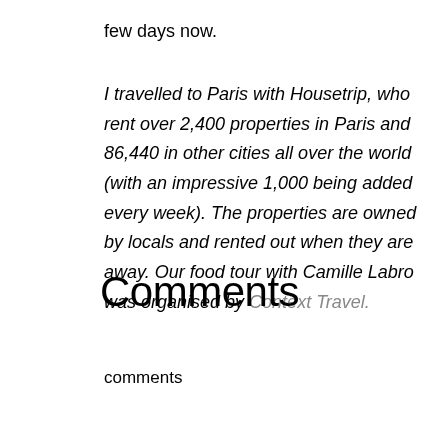few days now.
I travelled to Paris with Housetrip, who rent over 2,400 properties in Paris and 86,440 in other cities all over the world (with an impressive 1,000 being added every week). The properties are owned by locals and rented out when they are away. Our food tour with Camille Labro was organised by Context Travel.
Comments
comments